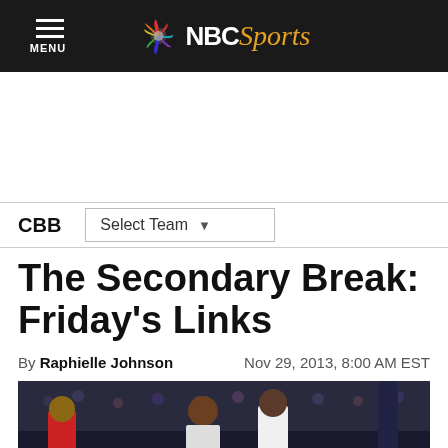NBC Sports — MENU
CBB   Select Team
The Secondary Break: Friday's Links
By Raphielle Johnson   Nov 29, 2013, 8:00 AM EST
[Figure (photo): Basketball players on a court, crowd in background, two players visible in foreground]